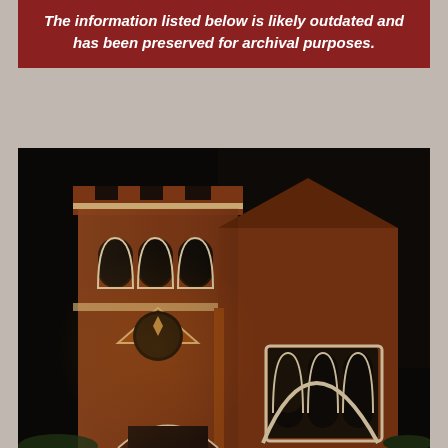The information listed below is likely outdated and has been preserved for archival purposes.
[Figure (photo): Night photograph of a red brick Gothic Revival church building illuminated by artificial lighting against a dark sky. The church features a tall square bell tower with arched windows, a triangular rose window, pointed Gothic arched windows, and decorative brickwork with white stone trim.]